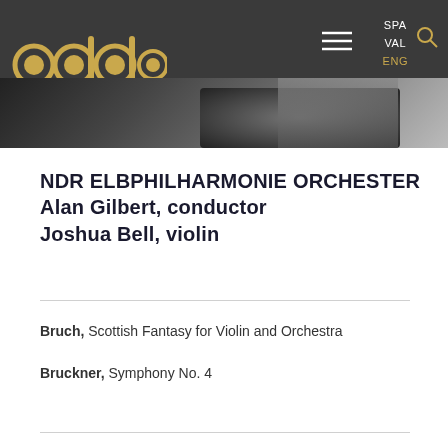adda | SPA VAL ENG
[Figure (photo): Dark background photo of musicians/instruments, partially visible as a strip beneath the navigation header]
NDR ELBPHILHARMONIE ORCHESTER
Alan Gilbert, conductor
Joshua Bell, violin
Bruch, Scottish Fantasy for Violin and Orchestra
Bruckner, Symphony No. 4